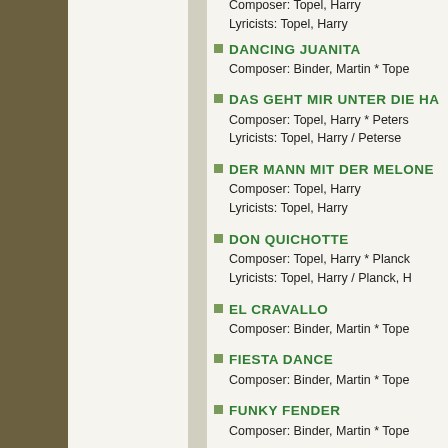DANCING JUANITA
Composer: Binder, Martin * Tope...
DAS GEHT MIR UNTER DIE HA...
Composer: Topel, Harry * Peters...
Lyricists: Topel, Harry / Peterse...
DER MANN MIT DER MELONE...
Composer: Topel, Harry
Lyricists: Topel, Harry
DON QUICHOTTE
Composer: Topel, Harry * Planck...
Lyricists: Topel, Harry / Planck, ...
EL CRAVALLO
Composer: Binder, Martin * Tope...
FIESTA DANCE
Composer: Binder, Martin * Tope...
FUNKY FENDER
Composer: Binder, Martin * Tope...
GOODBYE TAHITI